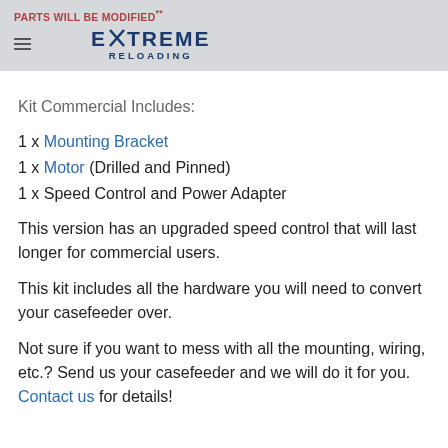PARTS WILL BE MODIFIED** EXTREME RELOADING
Kit Commercial Includes:
1 x Mounting Bracket
1 x Motor (Drilled and Pinned)
1 x Speed Control and Power Adapter
This version has an upgraded speed control that will last longer for commercial users.
This kit includes all the hardware you will need to convert your casefeeder over.
Not sure if you want to mess with all the mounting, wiring, etc.?  Send us your casefeeder and we will do it for you.  Contact us for details!